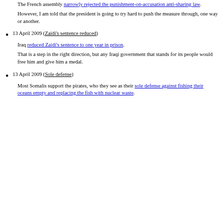countries it pretends to "help". [Reference updated on 2018-04-07 because the old link was broken.]
13 April 2009 (French punishment-on-accusation)
The French assembly narrowly rejected the punishment-on-accusation anti-sharing law.
However, I am told that the president is going to try hard to push the measure through, one way or another.
13 April 2009 (Zaidi's sentence reduced)
Iraq reduced Zaidi's sentence to one year in prison.
That is a step in the right direction, but any Iraqi government that stands for its people would free him and give him a medal.
13 April 2009 (Sole defense)
Most Somalis support the pirates, who they see as their sole defense against fishing their oceans empty and replacing the fish with nuclear waste.